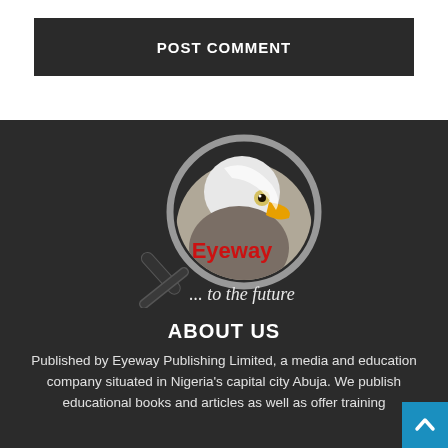POST COMMENT
[Figure (logo): Eyeway logo: magnifying glass with eagle head inside, text 'Eyeway' in red and '... to the future' in white italic below]
ABOUT US
Published by Eyeway Publishing Limited, a media and education company situated in Nigeria's capital city Abuja. We publish educational books and articles as well as offer training